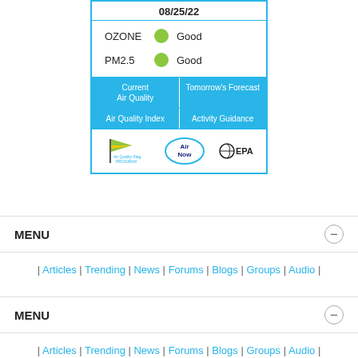[Figure (infographic): Air Quality widget showing date 08/25/22, OZONE Good (green circle), PM2.5 Good (green circle), with navigation buttons: Current Air Quality, Tomorrow's Forecast, Air Quality Index, Activity Guidance, and logos: Air Quality Flag Program, AirNow, EPA]
MENU
| Articles | Trending | News | Forums | Blogs | Groups | Audio |
MENU
| Articles | Trending | News | Forums | Blogs | Groups | Audio |